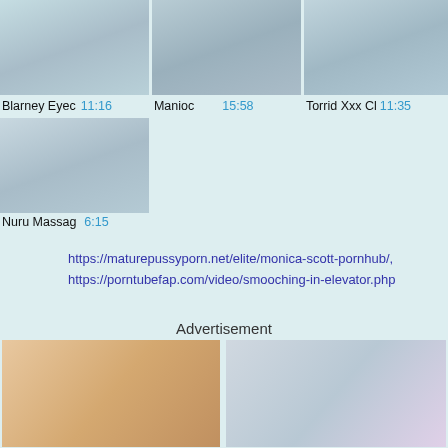[Figure (screenshot): Video thumbnail 1 - blurred adult content thumbnail]
[Figure (screenshot): Video thumbnail 2 - blurred adult content thumbnail]
[Figure (screenshot): Video thumbnail 3 - blurred adult content thumbnail]
Blarney Eyec  11:16    Manioc   15:58    Torrid Xxx Cl  11:35
[Figure (screenshot): Video thumbnail 4 - blurred adult content thumbnail, two women on a bed]
Nuru Massag  6:15
https://maturepussyporn.net/elite/monica-scott-pornhub/,
https://porntubefap.com/video/smooching-in-elevator.php
Advertisement
[Figure (photo): Advertisement image left - adult content]
[Figure (photo): Advertisement image right - adult content]